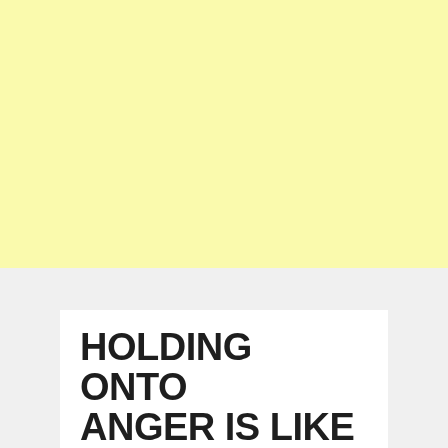[Figure (illustration): Solid light yellow background block occupying the top portion of the page]
HOLDING ONTO ANGER IS LIKE